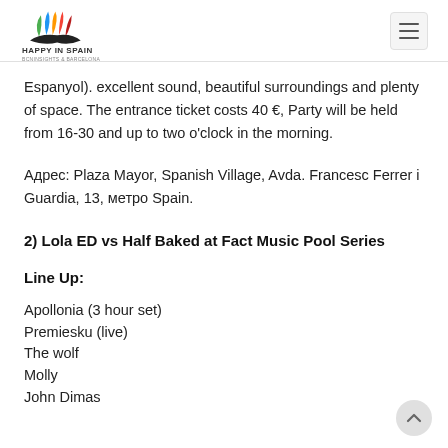HAPPY IN SPAIN
Espanyol). excellent sound, beautiful surroundings and plenty of space. The entrance ticket costs 40 €, Party will be held from 16-30 and up to two o'clock in the morning.
Адрес: Plaza Mayor, Spanish Village, Avda. Francesc Ferrer i Guardia, 13, метро Spain.
2) Lola ED vs Half Baked at Fact Music Pool Series
Line Up:
Apollonia (3 hour set)
Premiesku (live)
The wolf
Molly
John Dimas